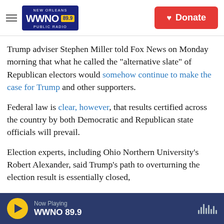WWNO 89.9 NEW ORLEANS PUBLIC RADIO — Donate
Trump adviser Stephen Miller told Fox News on Monday morning that what he called the "alternative slate" of Republican electors would somehow continue to make the case for Trump and other supporters.
Federal law is clear, however, that results certified across the country by both Democratic and Republican state officials will prevail.
Election experts, including Ohio Northern University's Robert Alexander, said Trump's path to overturning the election result is essentially closed,
Now Playing WWNO 89.9